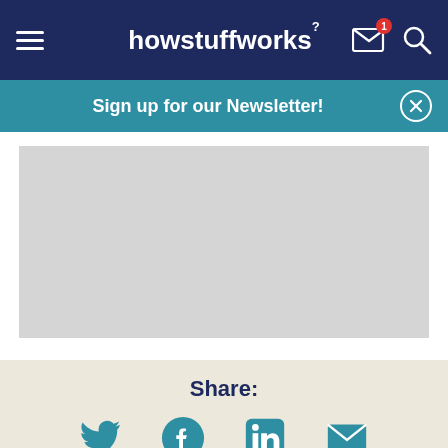howstuffworks
Sign up for our Newsletter!
[Figure (other): Gray placeholder content area]
Share:
[Figure (other): Social share icons: Twitter, Facebook, LinkedIn, Email]